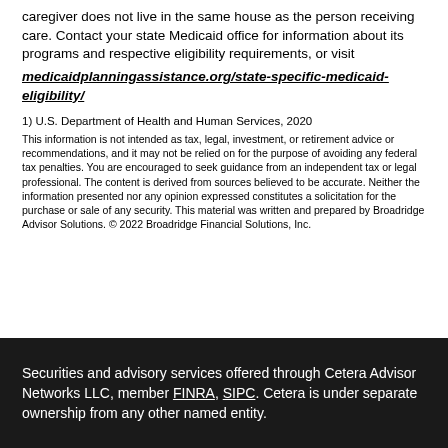caregiver does not live in the same house as the person receiving care. Contact your state Medicaid office for information about its programs and respective eligibility requirements, or visit medicaidplanningassistance.org/state-specific-medicaid-eligibility/
1) U.S. Department of Health and Human Services, 2020
This information is not intended as tax, legal, investment, or retirement advice or recommendations, and it may not be relied on for the purpose of avoiding any federal tax penalties. You are encouraged to seek guidance from an independent tax or legal professional. The content is derived from sources believed to be accurate. Neither the information presented nor any opinion expressed constitutes a solicitation for the purchase or sale of any security. This material was written and prepared by Broadridge Advisor Solutions. © 2022 Broadridge Financial Solutions, Inc.
Securities and advisory services offered through Cetera Advisor Networks LLC, member FINRA, SIPC. Cetera is under separate ownership from any other named entity.